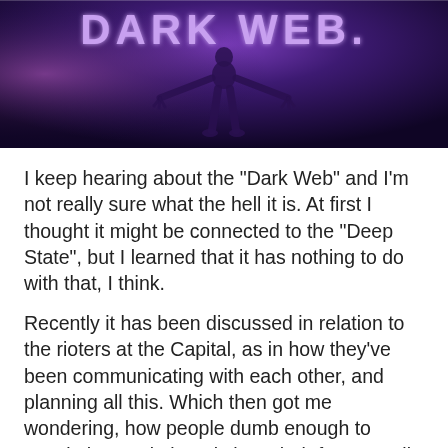[Figure (illustration): Dark purple/violet banner image with 'DARK WEB.' text at top in glowing letters and a silhouette figure with arms spread against a dark background]
I keep hearing about the "Dark Web" and I'm not really sure what the hell it is. At first I thought it might be connected to the "Deep State", but I learned that it has nothing to do with that, I think.
Recently it has been discussed in relation to the rioters at the Capital, as in how they've been communicating with each other, and planning all this. Which then got me wondering, how people dumb enough to attack the Capital, and show their faces to all the police